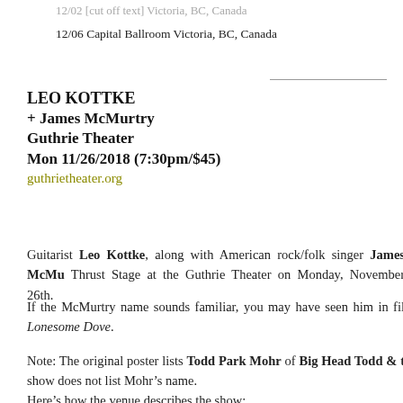12/06 Capital Ballroom Victoria, BC, Canada
LEO KOTTKE
+ James McMurtry
Guthrie Theater
Mon 11/26/2018 (7:30pm/$45)
guthrietheater.org
Guitarist Leo Kottke, along with American rock/folk singer James McMurtry, will perform on the Thrust Stage at the Guthrie Theater on Monday, November 26th.
If the McMurtry name sounds familiar, you may have seen him in films or the novel Lonesome Dove.
Note: The original poster lists Todd Park Mohr of Big Head Todd & the Monsters, but the current show does not list Mohr's name.
Here’s how the venue describes the show: